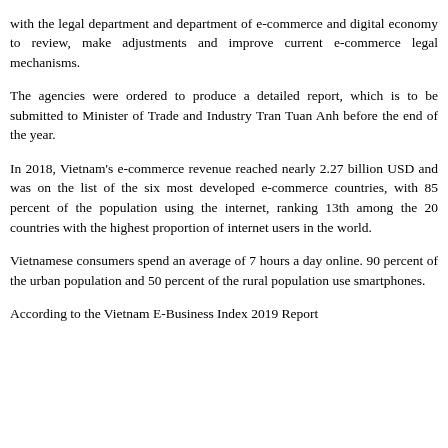with the legal department and department of e-commerce and digital economy to review, make adjustments and improve current e-commerce legal mechanisms.
The agencies were ordered to produce a detailed report, which is to be submitted to Minister of Trade and Industry Tran Tuan Anh before the end of the year.
In 2018, Vietnam's e-commerce revenue reached nearly 2.27 billion USD and was on the list of the six most developed e-commerce countries, with 85 percent of the population using the internet, ranking 13th among the 20 countries with the highest proportion of internet users in the world.
Vietnamese consumers spend an average of 7 hours a day online. 90 percent of the urban population and 50 percent of the rural population use smartphones.
According to the Vietnam E-Business Index 2019 Report